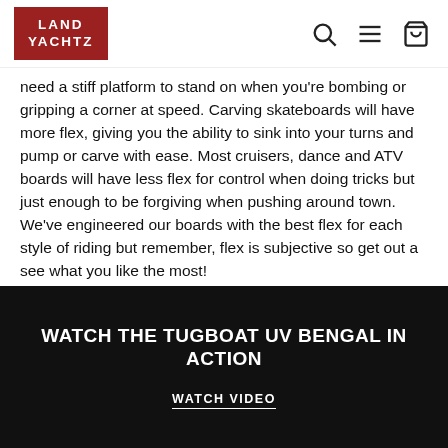LAND YACHTZ
need a stiff platform to stand on when you're bombing or gripping a corner at speed. Carving skateboards will have more flex, giving you the ability to sink into your turns and pump or carve with ease. Most cruisers, dance and ATV boards will have less flex for control when doing tricks but just enough to be forgiving when pushing around town. We've engineered our boards with the best flex for each style of riding but remember, flex is subjective so get out a see what you like the most!
WATCH THE TUGBOAT UV BENGAL IN ACTION
WATCH VIDEO